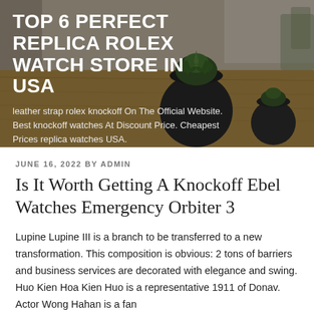[Figure (photo): Hero banner image showing a dark round plant pot with a succulent on a wooden table, with blurred interior background. Overlaid with dark semi-transparent gradient.]
TOP 6 PERFECT REPLICA ROLEX WATCH STORE IN USA
leather strap rolex knockoff On The Official Website. Best knockoff watches At Discount Price. Cheapest Prices replica watches USA.
JUNE 16, 2022 BY ADMIN
Is It Worth Getting A Knockoff Ebel Watches Emergency Orbiter 3
Lupine Lupine III is a branch to be transferred to a new transformation. This composition is obvious: 2 tons of barriers and business services are decorated with elegance and swing. Huo Kien Hoa Kien Huo is a representative 1911 of Donav. Actor Wong Hahan is a fan